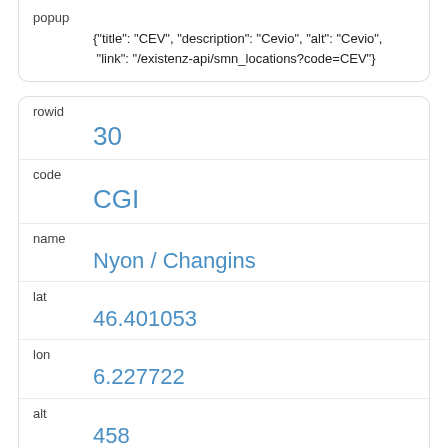popup
{"title": "CEV", "description": "Cevio", "alt": "Cevio", "link": "/existenz-api/smn_locations?code=CEV"}
| field | value |
| --- | --- |
| rowid | 30 |
| code | CGI |
| name | Nyon / Changins |
| lat | 46.401053 |
| lon | 6.227722 |
| alt | 458 |
| alt_barometric | 460 |
| chx | 2506878 |